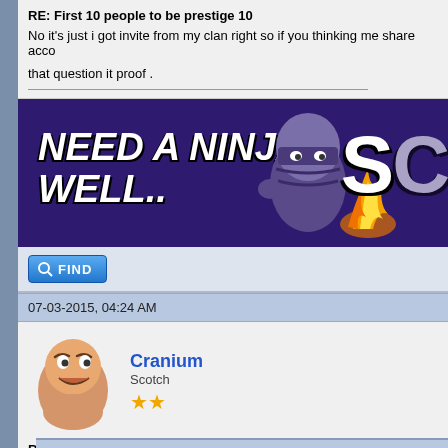RE: First 10 people to be prestige 10
No it's just i got invite from my clan right so if you thinking me share acco

that question it proof .
[Figure (infographic): Advertisement banner with dark purple background, text 'NEED A NINJA? WELL..' in large white italic bold font, cartoon ninja egg character with flames, and partial text 'SC' on the right]
FIND button
07-03-2015, 04:24 AM
[Figure (illustration): Cartoon egg avatar with angry face]
Cranium
Scotch
★★
RE: First 10 people to be prestige 10
Damn i won't be in that top either
FIND button